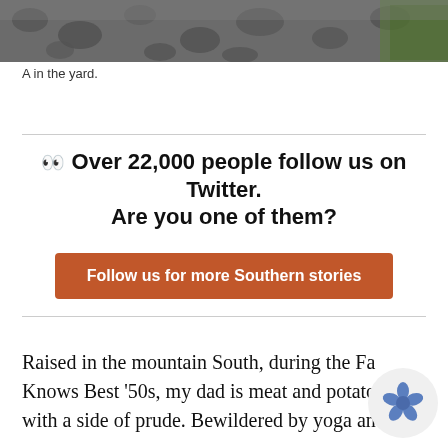[Figure (photo): Partial photo of a gravel yard with grass visible at the edge, cropped at top of page]
A in the yard.
Over 22,000 people follow us on Twitter. Are you one of them?
Follow us for more Southern stories
Raised in the mountain South, during the Fa Knows Best '50s, my dad is meat and potatoe. with a side of prude. Bewildered by yoga and